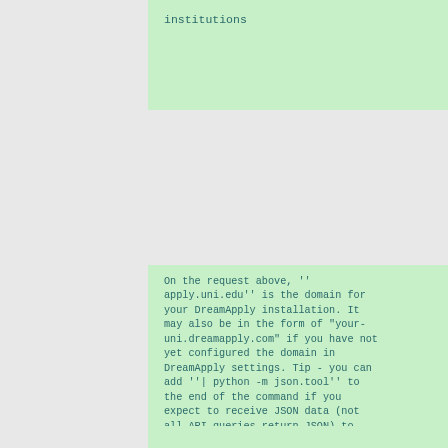institutions
On the request above, ''apply.uni.edu'' is the domain for your DreamApply installation. It may also be in the form of "your-uni.dreamapply.com" if you have not yet configured the domain in DreamApply settings. Tip - you can add ''| python -m json.tool'' to the end of the command if you expect to receive JSON data (not all API queries return JSON) to prettify the output.